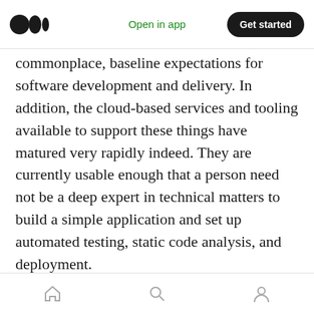Open in app  Get started
commonplace, baseline expectations for software development and delivery. In addition, the cloud-based services and tooling available to support these things have matured very rapidly indeed. They are currently usable enough that a person need not be a deep expert in technical matters to build a simple application and set up automated testing, static code analysis, and deployment.
If you’re involved with software development and delivery in a technical role, the day is fast approaching when you won’t be able to get away
home  search  profile